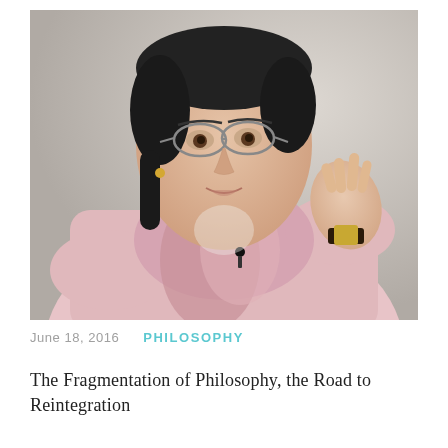[Figure (photo): An elderly woman with dark hair tied back, wearing glasses, a light pink cardigan, and a pink scarf draped around her neck. She has gold earrings and a gold watch on her left wrist. She appears to be speaking and gesturing with her right hand raised, fingers pointing upward. A small lapel microphone is clipped to her scarf. The background is a neutral grey.]
June 18, 2016     PHILOSOPHY
The Fragmentation of Philosophy, the Road to Reintegration